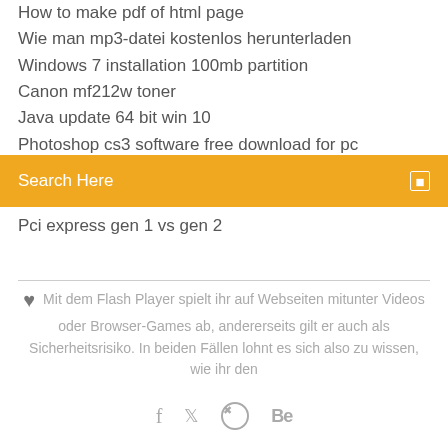How to make pdf of html page
Wie man mp3-datei kostenlos herunterladen
Windows 7 installation 100mb partition
Canon mf212w toner
Java update 64 bit win 10
Photoshop cs3 software free download for pc
Samsung galaxy s4 mini musik vom pc auf handy
Search Here
Pci express gen 1 vs gen 2
Mit dem Flash Player spielt ihr auf Webseiten mitunter Videos oder Browser-Games ab, andererseits gilt er auch als Sicherheitsrisiko. In beiden Fällen lohnt es sich also zu wissen, wie ihr den